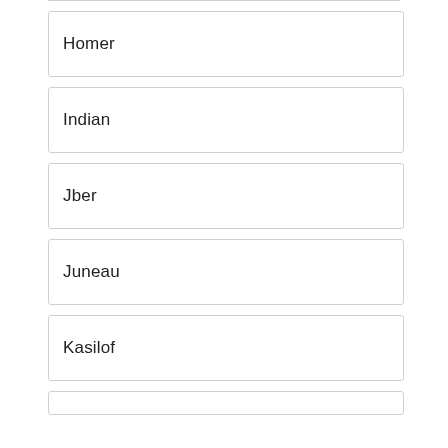Homer
Indian
Jber
Juneau
Kasilof